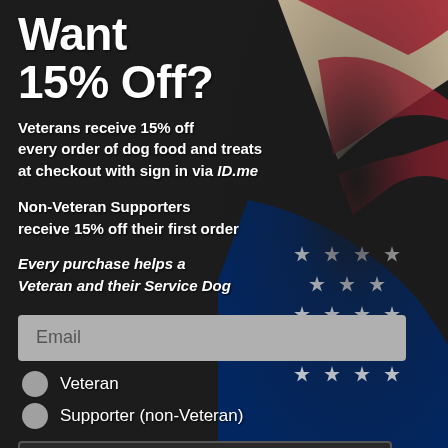Want 15% Off?
Veterans receive 15% off every order of dog food and treats at checkout with sign in via ID.me
Non-Veteran Supporters receive 15% off their first order
Every purchase helps a Veteran and their Service Dog
[Figure (photo): American flag draped in background on the right side]
Email
Veteran
Supporter (non-Veteran)
Subscribe